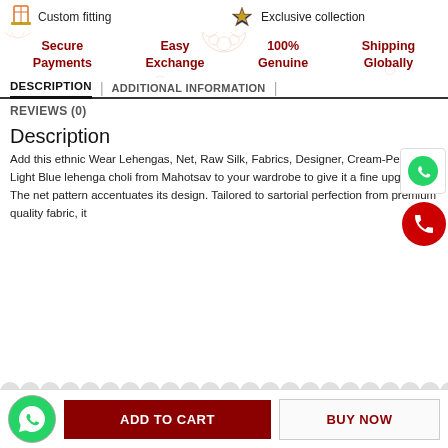Custom fitting
Exclusive collection
Secure Payments
Easy Exchange
100% Genuine
Shipping Globally
DESCRIPTION | ADDITIONAL INFORMATION | REVIEWS (0)
Description
Add this ethnic Wear Lehengas, Net, Raw Silk, Fabrics, Designer, Cream-Peach-Light Blue lehenga choli from Mahotsav to your wardrobe to give it a fine upgrade. The net pattern accentuates its design. Tailored to sartorial perfection from premium quality fabric, it
ADD TO CART
BUY NOW